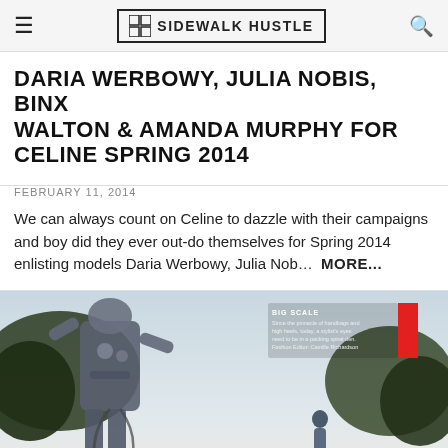SIDEWALK HUSTLE
DARIA WERBOWY, JULIA NOBIS, BINX WALTON & AMANDA MURPHY FOR CELINE SPRING 2014
FEBRUARY 11, 2014
We can always count on Celine to dazzle with their campaigns and boy did they ever out-do themselves for Spring 2014 enlisting models Daria Werbowy, Julia Nob…  MORE...
[Figure (photo): Fashion editorial photo showing a large mechanical or sculptural figure outdoors with trees, and a person walking in the background. Overlay text reads 'BIG SCALE' with a description about fashion styling. Red bar on right edge.]